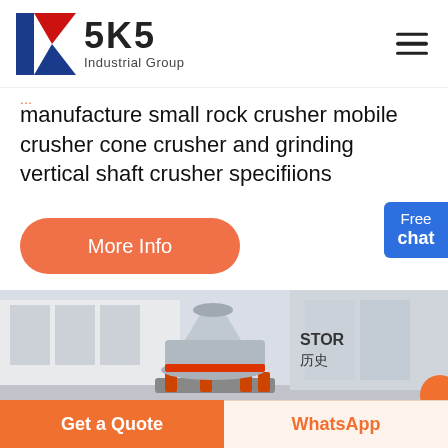[Figure (logo): SKS Industrial Group logo with red and blue K lettermark and bold SKS text]
manufacture small rock crusher mobile crusher cone crusher and grinding vertical shaft crusher specifiions
More Info
Free chat
[Figure (photo): Cone crusher industrial machine displayed in a showroom-like facility with glass walls and Chinese text 历史 visible]
Get a Quote
WhatsApp